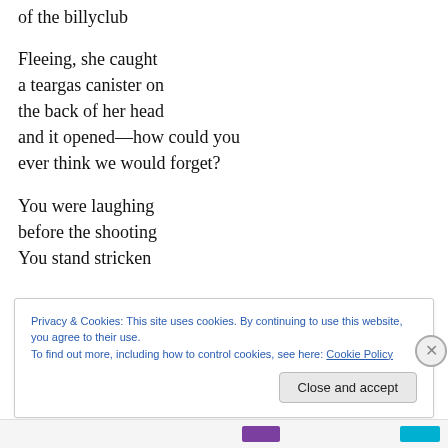of the billyclub
Fleeing, she caught
a teargas canister on
the back of her head
and it opened—how could you
ever think we would forget?
You were laughing
before the shooting
You stand stricken
Privacy & Cookies: This site uses cookies. By continuing to use this website, you agree to their use.
To find out more, including how to control cookies, see here: Cookie Policy
Close and accept